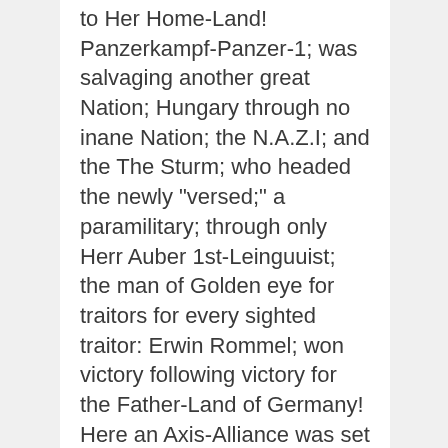to Her Home-Land! Panzerkampf-Panzer-1; was salvaging another great Nation; Hungary through no inane Nation; the N.A.Z.I; and the The Sturm; who headed the newly "versed;" a paramilitary; through only Herr Auber 1st-Leinguuist; the man of Golden eye for traitors for every sighted traitor: Erwin Rommel; won victory following victory for the Father-Land of Germany! Here an Axis-Alliance was set to rule out all class of traitors un-welcome to the World emprise of any communist cinder ever dared entered the N.A.Z.I. Regime. I paid for this compelling paper back for only under $1.49 cents! A; a; brave and friendly man; sold this to me